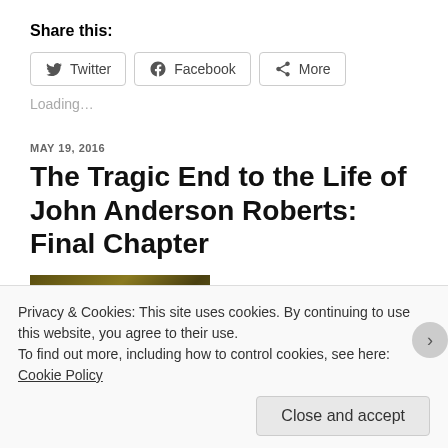Share this:
Twitter   Facebook   More
Loading...
MAY 19, 2016
The Tragic End to the Life of John Anderson Roberts: Final Chapter
[Figure (photo): Dark golden/yellow toned photograph, partially visible]
Privacy & Cookies: This site uses cookies. By continuing to use this website, you agree to their use.
To find out more, including how to control cookies, see here: Cookie Policy
Close and accept